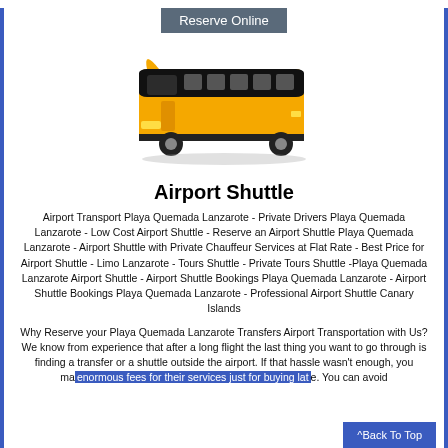Reserve Online
[Figure (illustration): Orange and black coach/shuttle bus facing slightly left, with shadow beneath]
Airport Shuttle
Airport Transport Playa Quemada Lanzarote - Private Drivers Playa Quemada Lanzarote - Low Cost Airport Shuttle - Reserve an Airport Shuttle Playa Quemada Lanzarote - Airport Shuttle with Private Chauffeur Services at Flat Rate - Best Price for Airport Shuttle - Limo Lanzarote - Tours Shuttle - Private Tours Shuttle -Playa Quemada Lanzarote Airport Shuttle - Airport Shuttle Bookings Playa Quemada Lanzarote - Airport Shuttle Bookings Playa Quemada Lanzarote - Professional Airport Shuttle Canary Islands
Why Reserve your Playa Quemada Lanzarote Transfers Airport Transportation with Us?
We know from experience that after a long flight the last thing you want to go through is finding a transfer or a shuttle outside the airport. If that hassle wasn't enough, you may enormous fees for their services just for buying late. You can avoid
^Back To Top